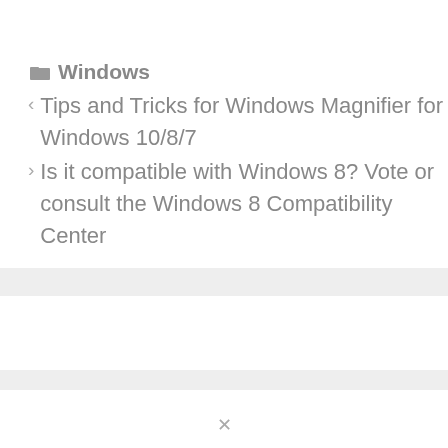Windows
< Tips and Tricks for Windows Magnifier for Windows 10/8/7
> Is it compatible with Windows 8? Vote or consult the Windows 8 Compatibility Center